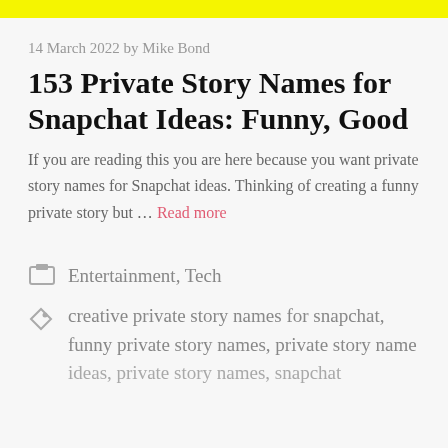14 March 2022 by Mike Bond
153 Private Story Names for Snapchat Ideas: Funny, Good
If you are reading this you are here because you want private story names for Snapchat ideas. Thinking of creating a funny private story but … Read more
Entertainment, Tech
creative private story names for snapchat, funny private story names, private story name ideas, private story names, snapchat